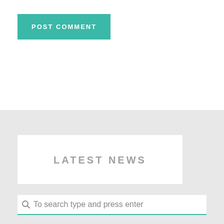[Figure (screenshot): A teal/turquoise button labeled POST COMMENT in white bold uppercase letters]
LATEST NEWS
kurgo harness reviews
Hello world!
To search type and press enter